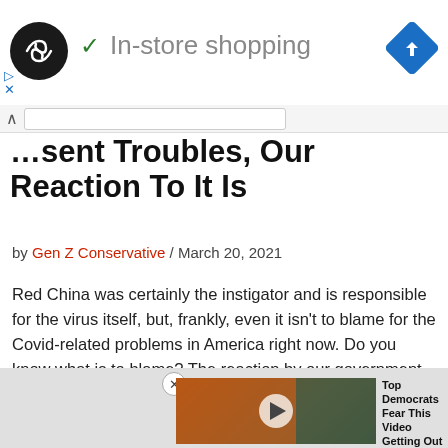[Figure (other): Advertisement banner with circular logo, checkmark, 'In-store shopping' text, and blue diamond navigation icon]
…resent Troubles, Our Reaction To It Is
by Gen Z Conservative / March 20, 2021
Red China was certainly the instigator and is responsible for the virus itself, but, frankly, even it isn't to blame for the Covid-related problems in America right now. Do you know what is to blame? The reaction by our government.
[Figure (other): Advertisement with video thumbnail showing a woman in orange jacket, play button overlay, and text 'Top Democrats Fear This Video Getting Out — Watch Now Before It's Banned - Ad']